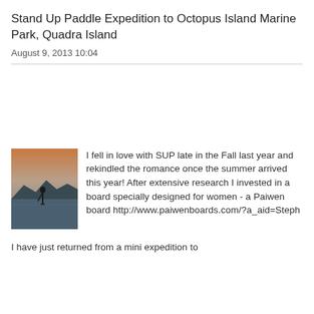Stand Up Paddle Expedition to Octopus Island Marine Park, Quadra Island
August 9, 2013 10:04
[Figure (photo): A person stand up paddleboarding on calm water at dusk, with silhouetted mountains in the background and a muted orange/blue sky.]
I fell in love with SUP late in the Fall last year and rekindled the romance once the summer arrived this year! After extensive research I invested in a board specially designed for women - a Paiwen board http://www.paiwenboards.com/?a_aid=Steph
I have just returned from a mini expedition to